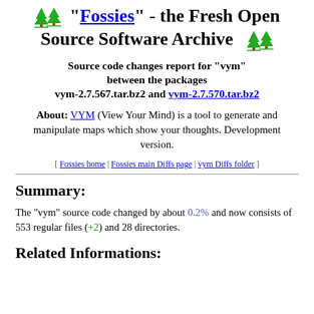"Fossies" - the Fresh Open Source Software Archive
Source code changes report for "vym" between the packages vym-2.7.567.tar.bz2 and vym-2.7.570.tar.bz2
About: VYM (View Your Mind) is a tool to generate and manipulate maps which show your thoughts. Development version.
[ Fossies home | Fossies main Diffs page | vym Diffs folder ]
Summary:
The "vym" source code changed by about 0.2% and now consists of 553 regular files (+2) and 28 directories.
Related Informations: